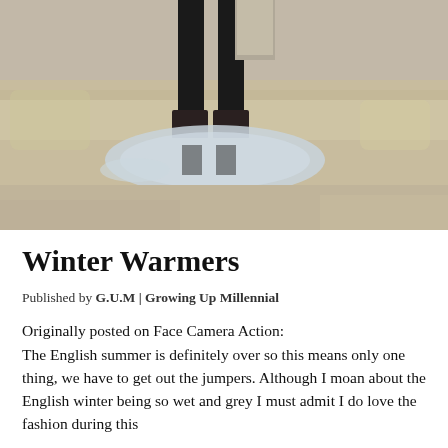[Figure (photo): A person standing in black clothes and ankle boots near a puddle on a gravelly outdoor surface, with a reflection visible in the puddle water.]
Winter Warmers
Published by G.U.M | Growing Up Millennial
Originally posted on Face Camera Action: The English summer is definitely over so this means only one thing, we have to get out the jumpers. Although I moan about the English winter being so wet and grey I must admit I do love the fashion during this